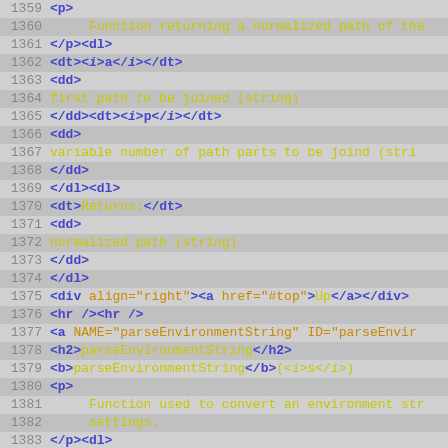1359  <p>
1360       Function returning a normalized path of the
1361  </p><dl>
1362  <dt><i>a</i></dt>
1363  <dd>
1364  first path to be joined (string)
1365  </dd><dt><i>p</i></dt>
1366  <dd>
1367  variable number of path parts to be joind (stri
1368  </dd>
1369  </dl><dl>
1370  <dt>Returns:</dt>
1371  <dd>
1372  normalized path (string)
1373  </dd>
1374  </dl>
1375  <div align="right"><a href="#top">Up</a></div>
1376  <hr /><hr />
1377  <a NAME="parseEnvironmentString" ID="parseEnvir
1378  <h2>parseEnvironmentString</h2>
1379  <b>parseEnvironmentString</b>(<i>s</i>)
1380  <p>
1381       Function used to convert an environment str
1382       settings.
1383  </p><dl>
1384  <dt><i>s</i></dt>